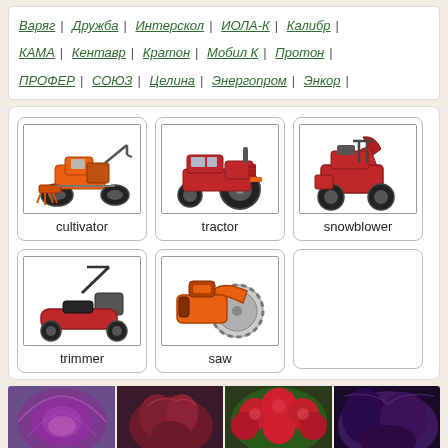Варяг | Дружба | Интерскол | ИОЛА-К | Калибр | КАМА | Кентавр | Кратон | Мобил К | Протон | ПРОФЕР | СОЮЗ | Целина | Энергопром | Энкор |
[Figure (photo): Orange cultivator (walk-behind tractor) with tilling attachment and wheels, labeled 'cultivator']
[Figure (photo): Red mini tractor with four wheels, labeled 'tractor']
[Figure (photo): Red and black snowblower machine, labeled 'snowblower']
[Figure (photo): Red push lawn mower on white background, labeled 'trimmer']
[Figure (photo): Orange circular saw / angle grinder with disc blade, labeled 'saw']
[Figure (photo): Purple cabbage or ornamental plant]
[Figure (photo): Dark red/maroon leafy plant]
[Figure (photo): Red flowering shrub or bush]
[Figure (photo): Dark purple foliage plant]